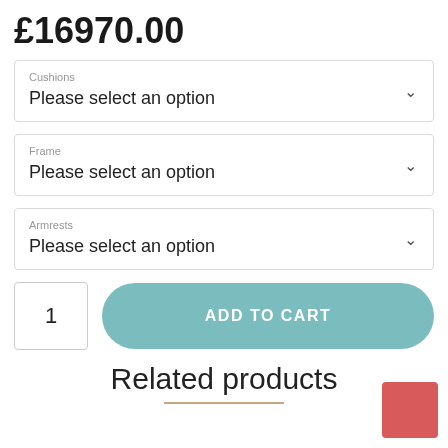£16970.00
Cushions
Please select an option
Frame
Please select an option
Armrests
Please select an option
1
ADD TO CART
Related products